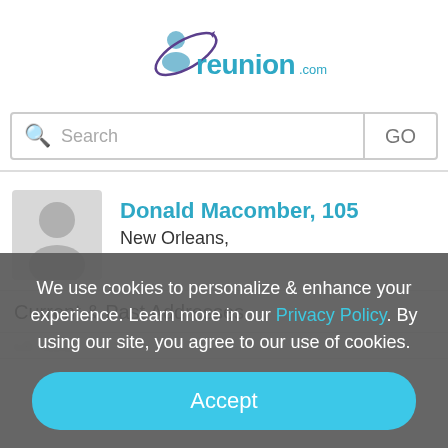[Figure (logo): reunion.com logo with person figure and orbit arc graphic]
Search
GO
Donald Macomber, 105
New Orleans,
Current & Past Addresses
We use cookies to personalize & enhance your experience. Learn more in our Privacy Policy. By using our site, you agree to our use of cookies.
Accept